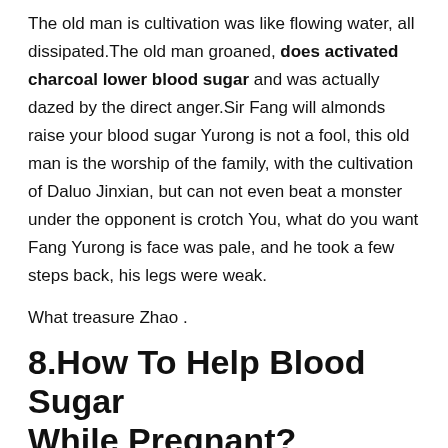The old man is cultivation was like flowing water, all dissipated.The old man groaned, does activated charcoal lower blood sugar and was actually dazed by the direct anger.Sir Fang will almonds raise your blood sugar Yurong is not a fool, this old man is the worship of the family, with the cultivation of Daluo Jinxian, but can not even beat a monster under the opponent is crotch You, what do you want Fang Yurong is face was pale, and he took a few steps back, his legs were weak.
What treasure Zhao .
8.How To Help Blood Sugar While Pregnant?
Ling asked.Oh, I Drugs Lower Blood Sugar Weight Loss diabetes natural lower blood sugar did not tell you, anyway, you are lychee fruit benefits for diabetes all dead, and you are still Da FashionHub does activated charcoal lower blood sugar